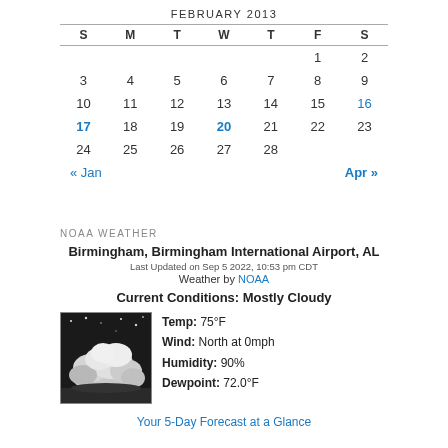FEBRUARY 2013
| S | M | T | W | T | F | S |
| --- | --- | --- | --- | --- | --- | --- |
|  |  |  |  |  | 1 | 2 |
| 3 | 4 | 5 | 6 | 7 | 8 | 9 |
| 10 | 11 | 12 | 13 | 14 | 15 | 16 |
| 17 | 18 | 19 | 20 | 21 | 22 | 23 |
| 24 | 25 | 26 | 27 | 28 |  |  |
« Jan    Apr »
NOAA WEATHER
Birmingham, Birmingham International Airport, AL
Last Updated on Sep 5 2022, 10:53 pm CDT
Weather by NOAA
Current Conditions: Mostly Cloudy
[Figure (photo): Black and white image of mostly cloudy night sky with cloud formations]
Temp: 75°F
Wind: North at 0mph
Humidity: 90%
Dewpoint: 72.0°F
Your 5-Day Forecast at a Glance